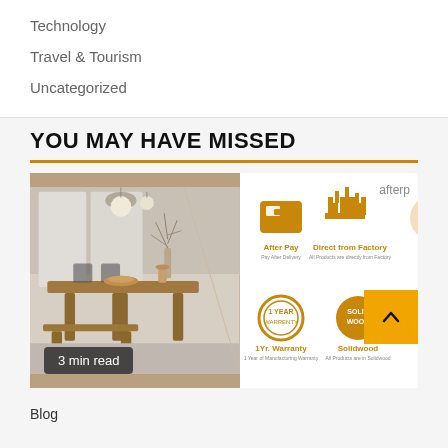Technology
Travel & Tourism
Uncategorized
YOU MAY HAVE MISSED
[Figure (photo): Two side-by-side images: left shows a wooden dining table and bench set in a bright interior with pendant lights; right shows furniture brand icons including After Pay, Direct from Factory, 1yr Warranty, Solidwood, and No Fi (partially visible), with 'afterp' text top right]
3 min read
Blog